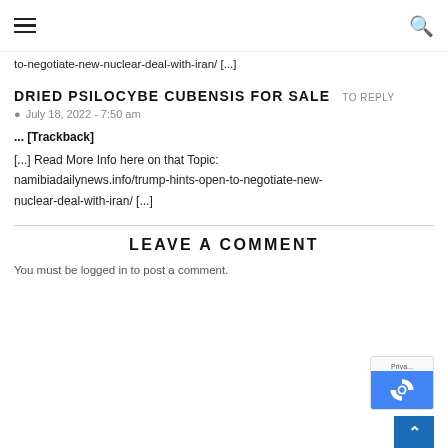☰  🔍
to-negotiate-new-nuclear-deal-with-iran/ [...]
DRIED PSILOCYBE CUBENSIS FOR SALE
July 18, 2022 - 7:50 am
... [Trackback]
[...] Read More Info here on that Topic: namibiadailynews.info/trump-hints-open-to-negotiate-new-nuclear-deal-with-iran/ [...]
LEAVE A COMMENT
You must be logged in to post a comment.